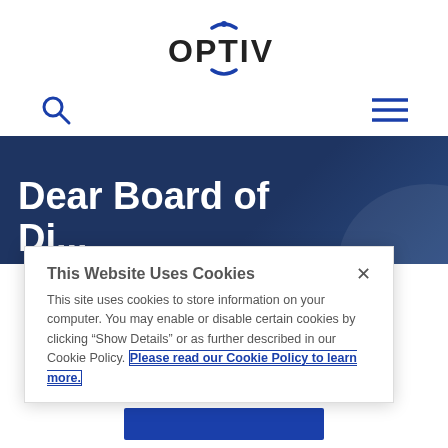[Figure (logo): Optiv logo with stylized face icon above the word OPTIV in dark text]
[Figure (other): Navigation bar with search icon on left and hamburger menu icon on right]
Dear Board of Di...
This Website Uses Cookies
This site uses cookies to store information on your computer. You may enable or disable certain cookies by clicking “Show Details” or as further described in our Cookie Policy. Please read our Cookie Policy to learn more.